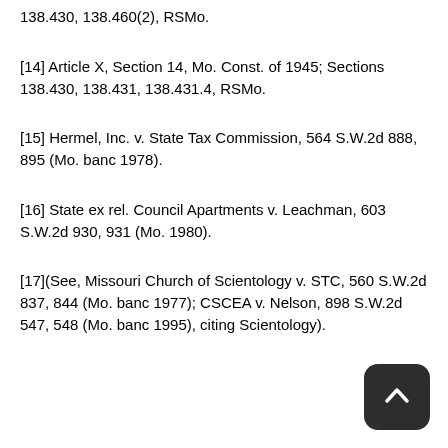138.430, 138.460(2), RSMo.
[14] Article X, Section 14, Mo. Const. of 1945; Sections 138.430, 138.431, 138.431.4, RSMo.
[15] Hermel, Inc. v. State Tax Commission, 564 S.W.2d 888, 895 (Mo. banc 1978).
[16] State ex rel. Council Apartments v. Leachman, 603 S.W.2d 930, 931 (Mo. 1980).
[17](See, Missouri Church of Scientology v. STC, 560 S.W.2d 837, 844 (Mo. banc 1977); CSCEA v. Nelson, 898 S.W.2d 547, 548 (Mo. banc 1995), citing Scientology).